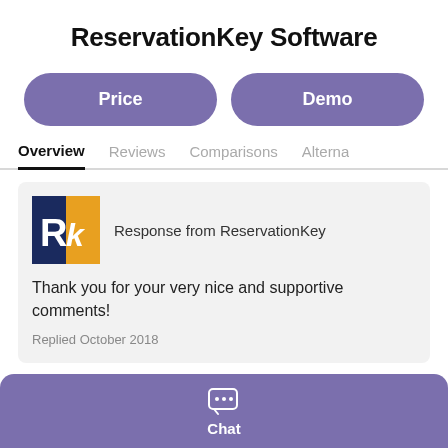ReservationKey Software
Price
Demo
Overview
Reviews
Comparisons
Alternatives
Response from ReservationKey
Thank you for your very nice and supportive comments!
Replied October 2018
Chat